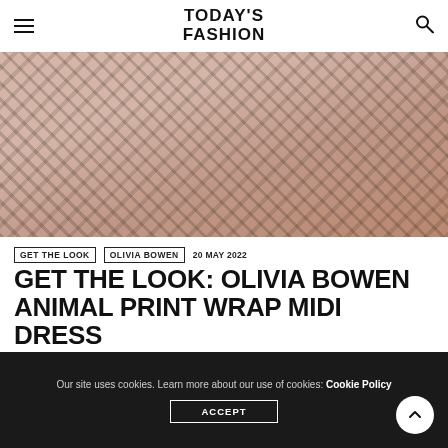TODAY'S FASHION
[Figure (photo): Woman in leopard/animal print wrap midi dress seated at the bottom of a staircase with white bannisters and herringbone carpet]
GET THE LOOK   OLIVIA BOWEN   20 MAY 2022
GET THE LOOK: OLIVIA BOWEN ANIMAL PRINT WRAP MIDI DRESS
Olivia Bowen posed for a quick Insta photo and sat at the bottom of her...
Our site uses cookies. Learn more about our use of cookies: Cookie Policy  ACCEPT